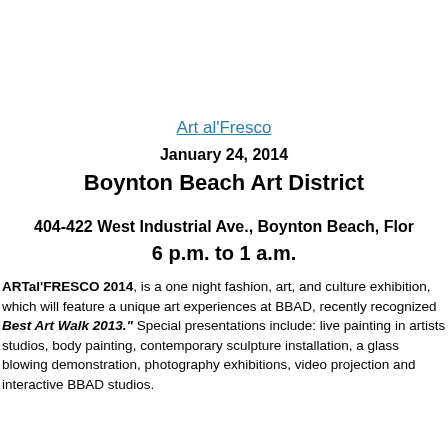Art al'Fresco
January 24, 2014
Boynton Beach Art District
404-422 West Industrial Ave., Boynton Beach, Florida
6 p.m. to 1 a.m.
ARTal'FRESCO 2014, is a one night fashion, art, and culture exhibition which will feature a unique art experiences at BBAD, recently recognized as Best Art Walk 2013." Special presentations include: live painting in artists studios, body painting, contemporary sculpture installation, a glass blowing demonstration, photography exhibitions, video projection and interactive BBAD studios.